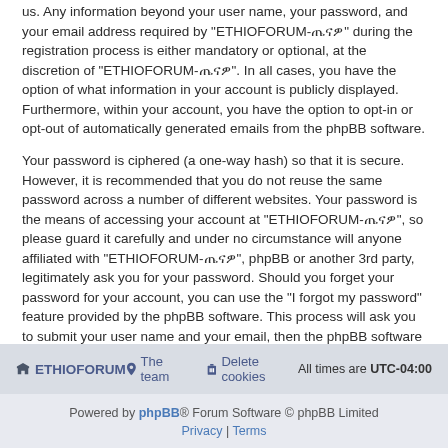us. Any information beyond your user name, your password, and your email address required by "ETHIOFORUM-ጤናዎ" during the registration process is either mandatory or optional, at the discretion of "ETHIOFORUM-ጤናዎ". In all cases, you have the option of what information in your account is publicly displayed. Furthermore, within your account, you have the option to opt-in or opt-out of automatically generated emails from the phpBB software.
Your password is ciphered (a one-way hash) so that it is secure. However, it is recommended that you do not reuse the same password across a number of different websites. Your password is the means of accessing your account at "ETHIOFORUM-ጤናዎ", so please guard it carefully and under no circumstance will anyone affiliated with "ETHIOFORUM-ጤናዎ", phpBB or another 3rd party, legitimately ask you for your password. Should you forget your password for your account, you can use the "I forgot my password" feature provided by the phpBB software. This process will ask you to submit your user name and your email, then the phpBB software will generate a new password to reclaim your account.
Back to login screen
ETHIOFORUM  The team  Delete cookies  All times are UTC-04:00  Powered by phpBB® Forum Software © phpBB Limited  Privacy | Terms